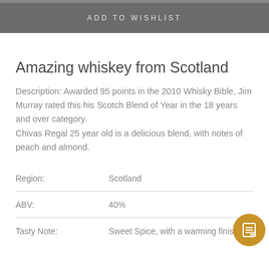ADD TO WISHLIST
Amazing whiskey from Scotland
Description: Awarded 95 points in the 2010 Whisky Bible, Jim Murray rated this his Scotch Blend of Year in the 18 years and over category.
Chivas Regal 25 year old is a delicious blend, with notes of peach and almond.
| Field | Value |
| --- | --- |
| Region: | Scotland |
| ABV: | 40% |
| Tasty Note: | Sweet Spice, with a warming finish |